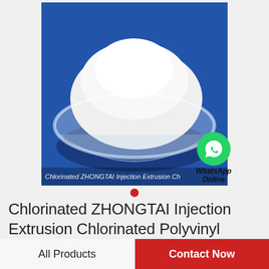[Figure (photo): Photo of white powder (CPVC resin) in a clear glass bowl on a blue background, with text overlay reading 'Chlorinated ZHONGTAI Injection Extrusion Ch']
[Figure (logo): WhatsApp green circular icon with phone handset, accompanied by text 'WhatsApp Online']
Chlorinated ZHONGTAI Injection Extrusion Chlorinated Polyvinyl Chloride Cpvc Resin Price
All Products
Contact Now